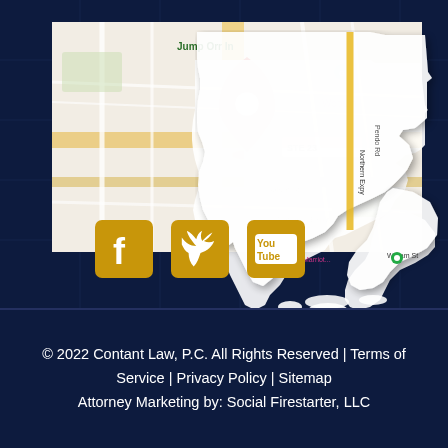[Figure (map): Google Maps screenshot showing a location pin in Woburn, Massachusetts area, overlaid on a silhouette of the state of Massachusetts. Social media icons (Facebook, Twitter, YouTube) shown below the map on a dark navy background.]
© 2022 Contant Law, P.C. All Rights Reserved | Terms of Service | Privacy Policy | Sitemap
Attorney Marketing by: Social Firestarter, LLC